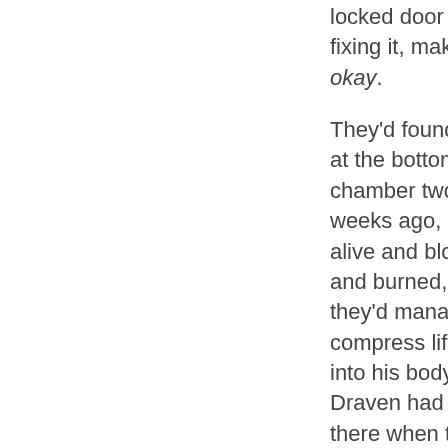locked door and fixing it, making it okay.
They'd found him at the bottom of the chamber two weeks ago, barely alive and bloody and burned, and they'd managed to compress life back into his body. Draven had been there when the surgeries were over, and when he finally woke up all James